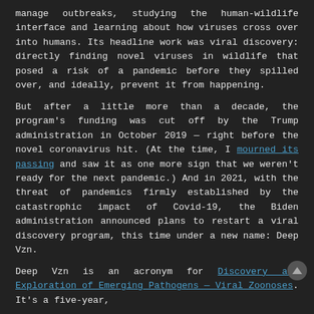manage outbreaks, studying the human-wildlife interface and learning about how viruses cross over into humans. Its headline work was viral discovery: directly finding novel viruses in wildlife that posed a risk of a pandemic before they spilled over, and ideally, prevent it from happening.
But after a little more than a decade, the program's funding was cut off by the Trump administration in October 2019 — right before the novel coronavirus hit. (At the time, I mourned its passing and saw it as one more sign that we weren't ready for the next pandemic.) And in 2021, with the threat of pandemics firmly established by the catastrophic impact of Covid-19, the Biden administration announced plans to restart a viral discovery program, this time under a new name: Deep Vzn.
Deep Vzn is an acronym for Discovery and Exploration of Emerging Pathogens — Viral Zoonoses. It's a five-year,